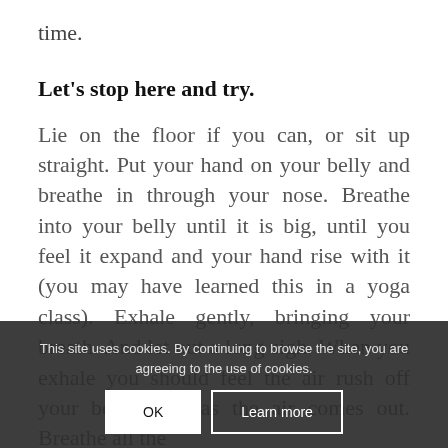time.
Let's stop here and try.
Lie on the floor if you can, or sit up straight. Put your hand on your belly and breathe in through your nose. Breathe into your belly until it is big, until you feel it expand and your hand rise with it (you may have learned this in a yoga class). Exhale gently, bringing your breath. And let out a long sigh. When you exhale you should feel the air rush off your belly drop as the air comes out. Breathe all the
This site uses cookies. By continuing to browse the site, you are agreeing to the use of cookies.